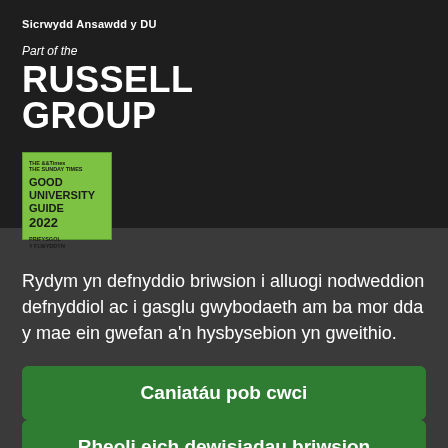Sicrwydd Ansawdd y DU
Part of the RUSSELL GROUP
[Figure (logo): The Times / The Sunday Times Good University Guide 2022 badge (green square with black text), with Welsh text 'PRIFYSGOL Y FLWYDDYN']
Rydym yn defnyddio briwsion i alluogi nodweddion defnyddiol ac i gasglu gwybodaeth am ba mor dda y mae ein gwefan a'n hysbysebion yn gweithio.
Caniatáu pob cwci
Rheoli eich dewisiadau briwsion